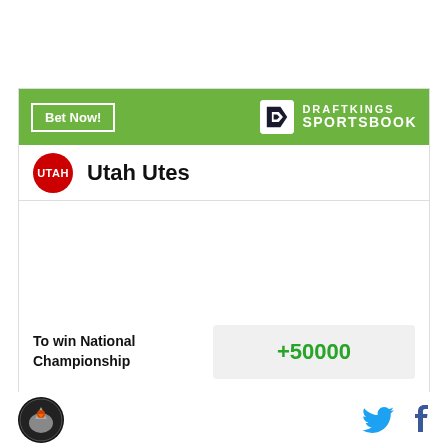[Figure (logo): DraftKings Sportsbook betting card for Utah Utes with odds +50000 to win National Championship]
Bet Now!
[Figure (logo): DraftKings Sportsbook logo]
Utah Utes
To win National Championship
+50000
Odds/Lines subject to change. See draftkings.com for details.